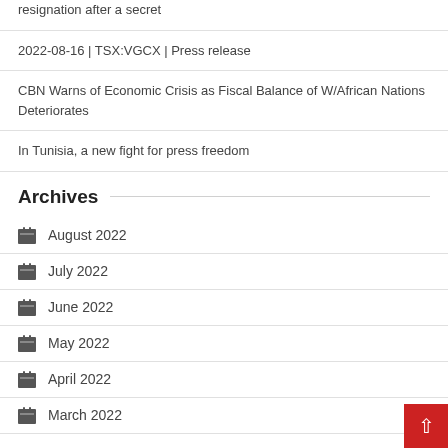resignation after a secret
2022-08-16 | TSX:VGCX | Press release
CBN Warns of Economic Crisis as Fiscal Balance of W/African Nations Deteriorates
In Tunisia, a new fight for press freedom
Archives
August 2022
July 2022
June 2022
May 2022
April 2022
March 2022